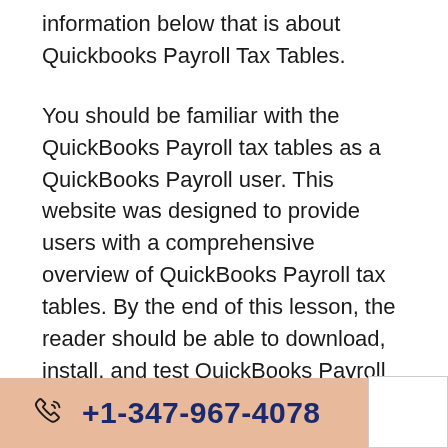information below that is about Quickbooks Payroll Tax Tables.
You should be familiar with the QuickBooks Payroll tax tables as a QuickBooks Payroll user. This website was designed to provide users with a comprehensive overview of QuickBooks Payroll tax tables. By the end of this lesson, the reader should be able to download, install, and test QuickBooks Payroll Tax Table. As a result, continue reading till the conclusion.
+1-347-967-4078